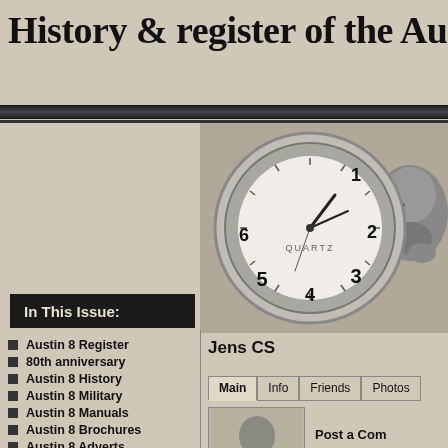History & register of the Au
[Figure (photo): Black and white composite image showing a close-up of a QUARTZ clock face with numerals 1-6 visible, and a portrait of a bearded man in the background]
In This Issue:
Austin 8 Register
80th anniversary
Austin 8 History
Austin 8 Military
Austin 8 Manuals
Austin 8 Brochures
Austin 8 Adverts
Jens CS
Main   Info   Friends   Photos
Post a Com